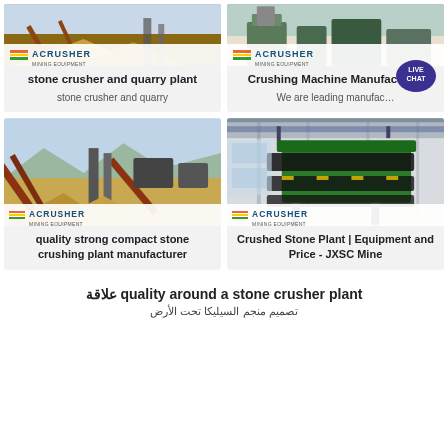[Figure (photo): Stone crusher and quarry plant - ACRUSHER branded image showing quarry equipment]
stone crusher and quarry plant
stone crusher and quarry
[Figure (photo): Crushing Machine Manufacturer - ACRUSHER branded image]
Crushing Machine Manufacturer
We are leading manufac...
[Figure (photo): Quality strong compact stone crushing plant - outdoor quarry with conveyors]
quality strong compact stone crushing plant manufacturer
[Figure (photo): Crushed Stone Plant | Equipment and Price - JXSC Mine - indoor green crusher machine]
Crushed Stone Plant | Equipment and Price - JXSC Mine
علاقة quality around a stone crusher plant
تصميم منجم السيليكا تحت الأرض